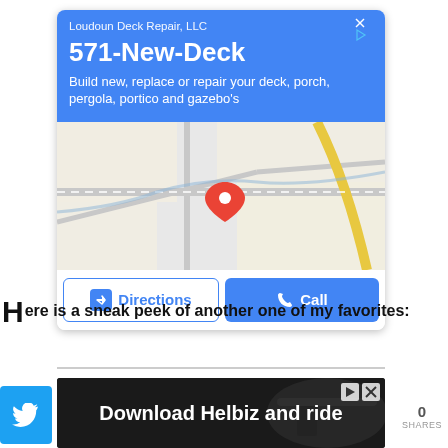[Figure (screenshot): Google ad card for Loudoun Deck Repair LLC showing business name, phone number 571-New-Deck, description text, a map with red location pin, and Directions and Call buttons]
Here is a sneak peek of another one of my favorites:
[Figure (screenshot): Bottom advertisement banner for Helbiz showing dark background with text 'Download Helbiz and ride' and an image of a scooter handlebar]